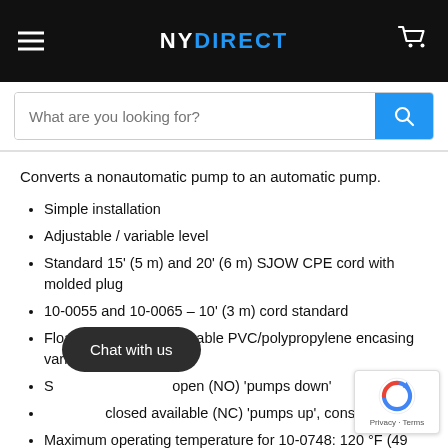NY DIRECT
Converts a nonautomatic pump to an automatic pump.
Simple installation
Adjustable / variable level
Standard 15' (5 m) and 20' (6 m) SJOW CPE cord with molded plug
10-0055 and 10-0065 – 10' (3 m) cord standard
Float constructed of durable PVC/polypropylene encasing variable level switch
S[...] open (NO) 'pumps down'
[...] closed available (NC) 'pumps up', consult factory
Maximum operating temperature for 10-0748: 120 °F (49